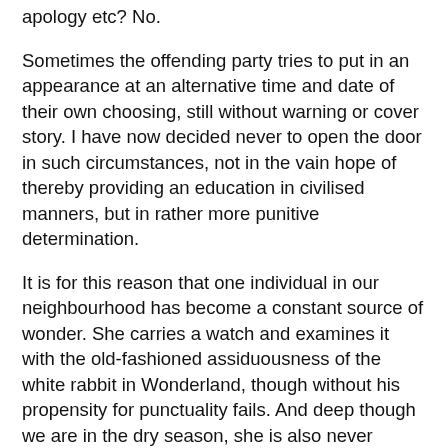apology etc? No.
Sometimes the offending party tries to put in an appearance at an alternative time and date of their own choosing, still without warning or cover story. I have now decided never to open the door in such circumstances, not in the vain hope of thereby providing an education in civilised manners, but in rather more punitive determination.
It is for this reason that one individual in our neighbourhood has become a constant source of wonder. She carries a watch and examines it with the old-fashioned assiduousness of the white rabbit in Wonderland, though without his propensity for punctuality fails. And deep though we are in the dry season, she is also never without her flowery umbrella – signs of a preternatural preparedness quite anomalous in these parts.
Having offered to produce for us, twice weekly, tortillas of black and yellow corn in the traditional manner, each time she has come to deliver them almost exactly five minutes in advance of the agreed time. And when I emerge, regards me